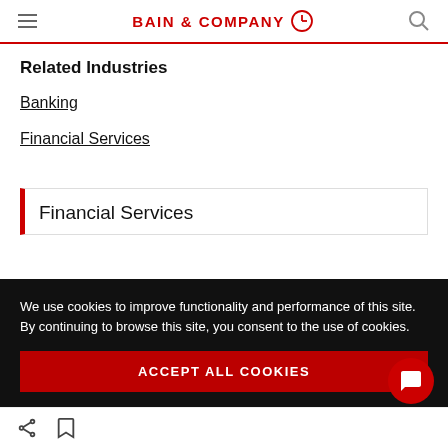BAIN & COMPANY
Related Industries
Banking
Financial Services
Financial Services
We use cookies to improve functionality and performance of this site. By continuing to browse this site, you consent to the use of cookies.
ACCEPT ALL COOKIES